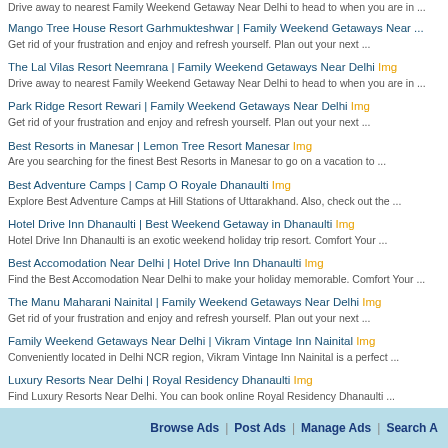Drive away to nearest Family Weekend Getaway Near Delhi to head to when you are in ...
Mango Tree House Resort Garhmukteshwar | Family Weekend Getaways Near ... Get rid of your frustration and enjoy and refresh yourself. Plan out your next ...
The Lal Vilas Resort Neemrana | Family Weekend Getaways Near Delhi Img Drive away to nearest Family Weekend Getaway Near Delhi to head to when you are in ...
Park Ridge Resort Rewari | Family Weekend Getaways Near Delhi Img Get rid of your frustration and enjoy and refresh yourself. Plan out your next ...
Best Resorts in Manesar | Lemon Tree Resort Manesar Img Are you searching for the finest Best Resorts in Manesar to go on a vacation to ...
Best Adventure Camps | Camp O Royale Dhanaulti Img Explore Best Adventure Camps at Hill Stations of Uttarakhand. Also, check out the ...
Hotel Drive Inn Dhanaulti | Best Weekend Getaway in Dhanaulti Img Hotel Drive Inn Dhanaulti is an exotic weekend holiday trip resort. Comfort Your ...
Best Accomodation Near Delhi | Hotel Drive Inn Dhanaulti Img Find the Best Accomodation Near Delhi to make your holiday memorable. Comfort Your ...
The Manu Maharani Nainital | Family Weekend Getaways Near Delhi Img Get rid of your frustration and enjoy and refresh yourself. Plan out your next ...
Family Weekend Getaways Near Delhi | Vikram Vintage Inn Nainital Img Conveniently located in Delhi NCR region, Vikram Vintage Inn Nainital is a perfect ...
Luxury Resorts Near Delhi | Royal Residency Dhanaulti Img Find Luxury Resorts Near Delhi. You can book online Royal Residency Dhanaulti ...
Weekend Getaway in Dhanaulti | Hotel Drive Inn Dhanaulti Img Conveniently located, Hotel Drive Inn Dhanaulti is a perfect stay for Weekend ...
Browse Ads | Post Ads | Manage Ads | Search A